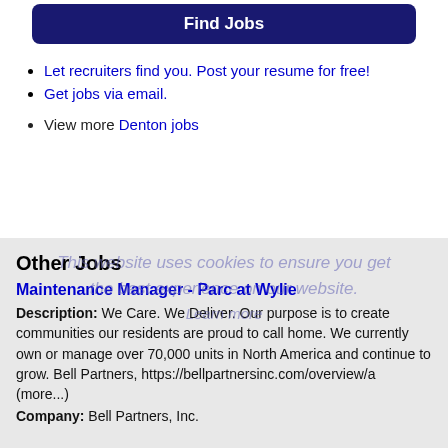Find Jobs
Let recruiters find you. Post your resume for free!
Get jobs via email.
View more Denton jobs
Other Jobs
This website uses cookies to ensure you get the best experience on our website. Learn more
Maintenance Manager - Parc at Wylie
Description: We Care. We Deliver. Our purpose is to create communities our residents are proud to call home. We currently own or manage over 70,000 units in North America and continue to grow. Bell Partners, https://bellpartnersinc.com/overview/a (more...)
Company: Bell Partners, Inc.